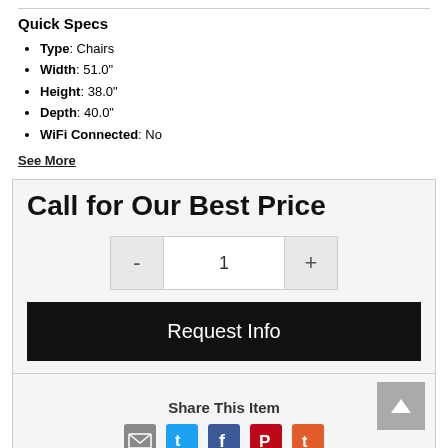Quick Specs
Type: Chairs
Width: 51.0"
Height: 38.0"
Depth: 40.0"
WiFi Connected: No
See More
Call for Our Best Price
1
Request Info
Share This Item